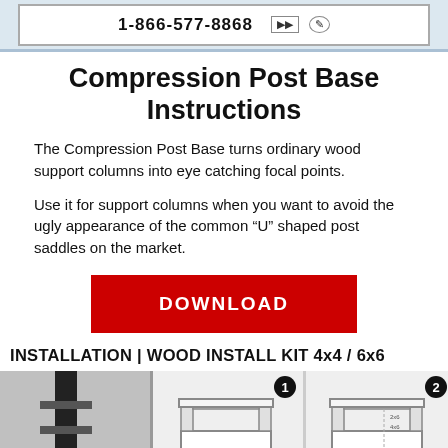[Figure (other): Top banner with phone number 1-866-577-8868 and icons inside a bordered box on a light blue background]
Compression Post Base Instructions
The Compression Post Base turns ordinary wood support columns into eye catching focal points.
Use it for support columns when you want to avoid the ugly appearance of the common “U” shaped post saddles on the market.
[Figure (other): Red DOWNLOAD button]
INSTALLATION | WOOD INSTALL KIT 4x4 / 6x6
[Figure (illustration): Three installation step images: first shows a dark post/column component, second (step 1) shows a white box/base assembly from above, third (step 2) shows a similar white base assembly with hardware labels]